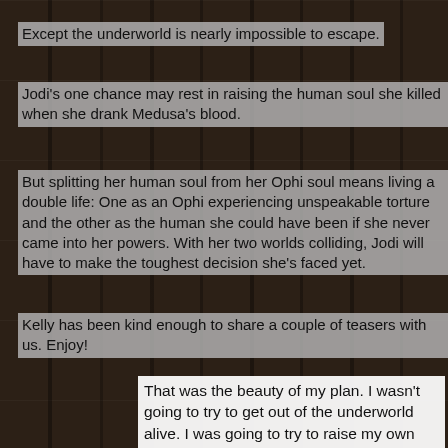Except the underworld is nearly impossible to escape.
Jodi's one chance may rest in raising the human soul she killed when she drank Medusa's blood.
But splitting her human soul from her Ophi soul means living a double life: One as an Ophi experiencing unspeakable torture and the other as the human she could have been if she never came into her powers. With her two worlds colliding, Jodi will have to make the toughest decision she's faced yet.
Kelly has been kind enough to share a couple of teasers with us. Enjoy!
That was the beauty of my plan. I wasn't going to try to get out of the underworld alive. I was going to try to raise my own soul. My human soul. The one I'd killed. I was going to